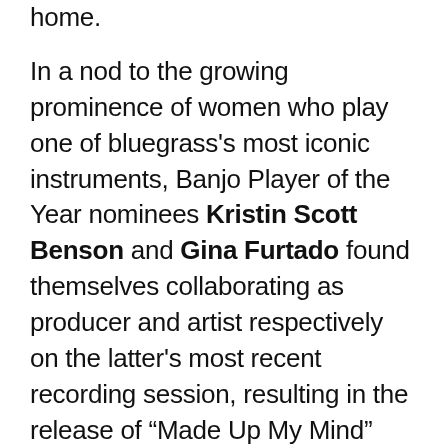home.
In a nod to the growing prominence of women who play one of bluegrass's most iconic instruments, Banjo Player of the Year nominees Kristin Scott Benson and Gina Furtado found themselves collaborating as producer and artist respectively on the latter's most recent recording session, resulting in the release of “Made Up My Mind” and “Kansas City Railroad Blues” by the latter’s The Gina Furtado Project. Each also picked up additional IBMA Award nominations—